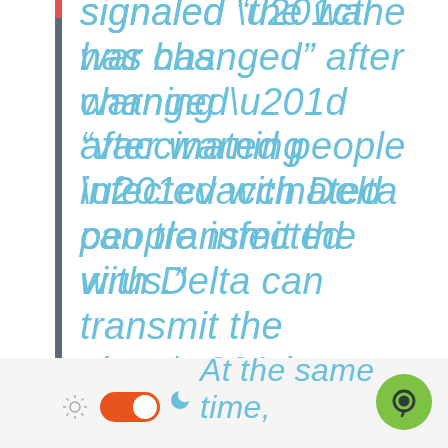signaled “the war has changed” after warning “vaccinated people infected with Delta can transmit the virus.”
At the same time,